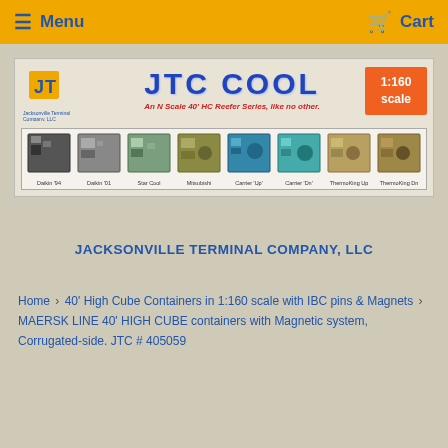Menu   Cart
[Figure (logo): JTC Cool banner with logo, title text 'JTC COOL', subtitle 'An N Scale 40' HC Reefer Series, like no other.', 1:160 scale badge, and 8 model container illustrations labeled Daikin '94, Daikin '01, Star Cool, Mitsubishi, Carrier 'Up', Carrier 'Dn', ThermoKing Up, ThermoKing Dn]
JACKSONVILLE TERMINAL COMPANY, LLC
Home > 40' High Cube Containers in 1:160 scale with IBC pins & Magnets > MAERSK LINE 40' HIGH CUBE containers with Magnetic system, Corrugated-side. JTC # 405059